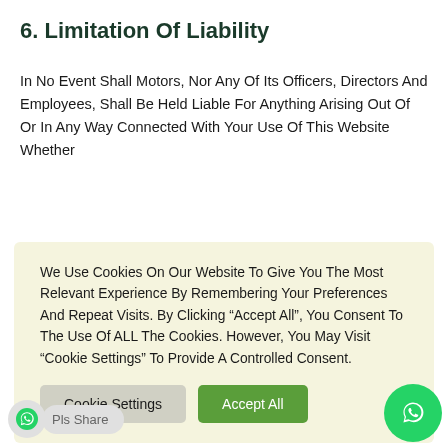6. Limitation Of Liability
In No Event Shall Motors, Nor Any Of Its Officers, Directors And Employees, Shall Be Held Liable For Anything Arising Out Of Or In Any Way Connected With Your Use Of This Website Whether
[Figure (screenshot): Cookie consent banner with light yellow background. Text: 'We Use Cookies On Our Website To Give You The Most Relevant Experience By Remembering Your Preferences And Repeat Visits. By Clicking “Accept All”, You Consent To The Use Of ALL The Cookies. However, You May Visit "Cookie Settings" To Provide A Controlled Consent.' Two buttons: 'Cookie Settings' (grey) and 'Accept All' (green).]
Against Any And/Or All Liabilities, Costs, Demands, Causes Of Action, Damages And Expenses Arising In Any Way Related To Your Breach Of Any Of The Provisions Of These Terms.
8. Severability
on Of Those Terms Is Found To Be Invalid Under